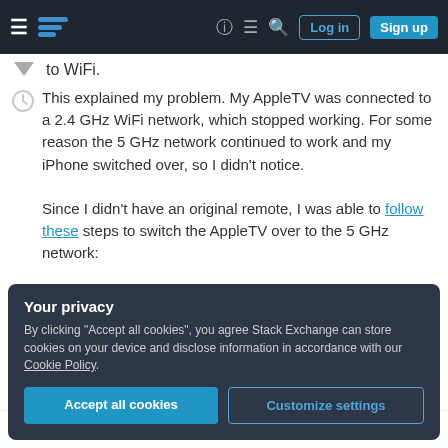Stack Exchange navigation bar with hamburger menu, logo, help, chat, search, Log in, Sign up
to WiFi.
This explained my problem. My AppleTV was connected to a 2.4 GHz WiFi network, which stopped working. For some reason the 5 GHz network continued to work and my iPhone switched over, so I didn't notice.

Since I didn't have an original remote, I was able to follow these steps to switch the AppleTV over to the 5 GHz network:
Your privacy
By clicking "Accept all cookies", you agree Stack Exchange can store cookies on your device and disclose information in accordance with our Cookie Policy.
Accept all cookies  Customize settings
Select Learn Remote and follow the steps to